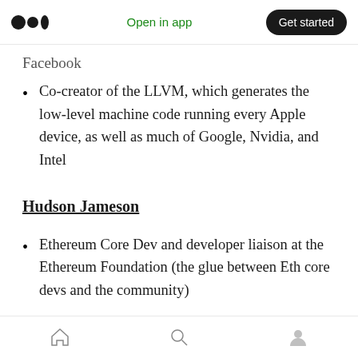Open in app  Get started
Facebook
Co-creator of the LLVM, which generates the low-level machine code running every Apple device, as well as much of Google, Nvidia, and Intel
Hudson Jameson
Ethereum Core Dev and developer liaison at the Ethereum Foundation (the glue between Eth core devs and the community)
These are just some of the many other highly
Home  Search  Profile